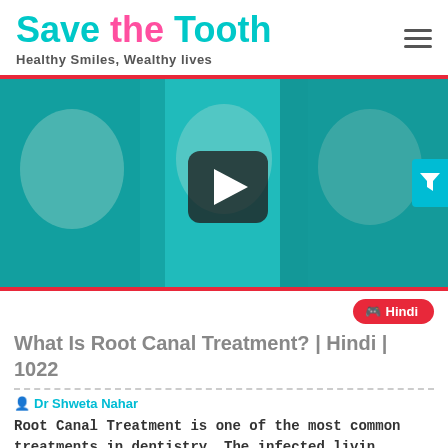Save the Tooth — Healthy Smiles, Wealthy lives
[Figure (photo): Video thumbnail with teal-tinted group photo of people smiling, with a play button overlay in the center and a filter icon on the right edge.]
What Is Root Canal Treatment? | Hindi | 1022
Dr Shweta Nahar
Root Canal Treatment is one of the most common treatments in dentistry. The infected livin
Baroda